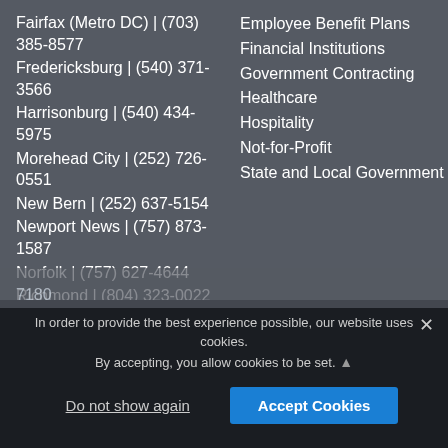Fairfax (Metro DC)  |  (703) 385-8577
Fredericksburg  |  (540) 371-3566
Harrisonburg  |  (540) 434-5975
Morehead City  |  (252) 726-0551
New Bern  |  (252) 637-5154
Newport News  |  (757) 873-1587
Norfolk  |  (757) 627-4644
Richmond  |  (804) 323-0022
Rockville  |  (240) 499-2040
Warrenton  |  (540) 347-4970
Williamsburg  |  (757) 229-7180
Employee Benefit Plans
Financial Institutions
Government Contracting
Healthcare
Hospitality
Not-for-Profit
State and Local Government
In order to provide the best experience possible, our website uses cookies. By accepting, you allow cookies to be set.
Do not show again
Accept Cookies